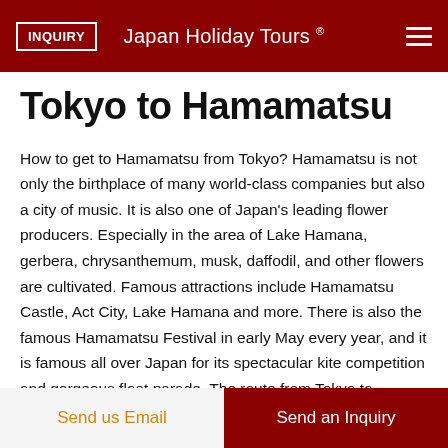INQUIRY | Japan Holiday Tours ®
Tokyo to Hamamatsu
How to get to Hamamatsu from Tokyo? Hamamatsu is not only the birthplace of many world-class companies but also a city of music. It is also one of Japan's leading flower producers. Especially in the area of Lake Hamana, gerbera, chrysanthemum, musk, daffodil, and other flowers are cultivated. Famous attractions include Hamamatsu Castle, Act City, Lake Hamana and more. There is also the famous Hamamatsu Festival in early May every year, and it is famous all over Japan for its spectacular kite competition and gorgeous float parade. The route from Tokyo to Hamamatsu is about 230 kilometers, and the Shinkansen takes about 1.5 to 2
Send us Email | Send an Inquiry